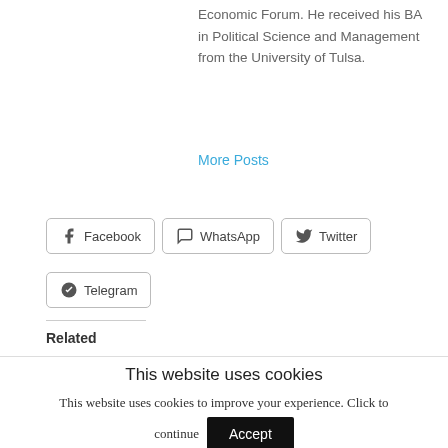Economic Forum. He received his BA in Political Science and Management from the University of Tulsa.
More Posts
Facebook
WhatsApp
Twitter
Telegram
Related
This website uses cookies
This website uses cookies to improve your experience. Click to continue
Accept